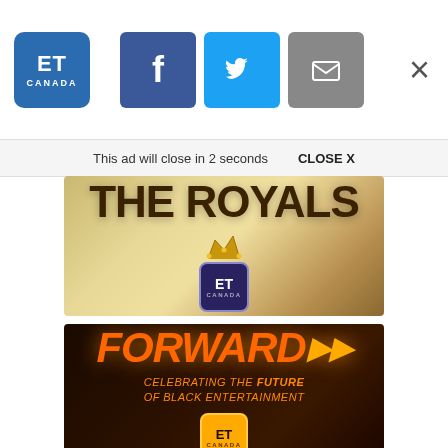ET Canada | Social share icons: Facebook, Twitter, Email | Close X
This ad will close in 2 seconds   CLOSE X
[Figure (illustration): The Royals promotional image with gold/tan gradient background, bold dark brown text reading THE ROYALS, a golden crown icon above the ET Canada logo badge]
[Figure (illustration): Forward promotional image with dark background, orange italic text FORWARD with double arrow chevrons, subtitle CELEBRATING THE FUTURE OF BLACK ENTERTAINMENT, ET Canada badge at bottom]